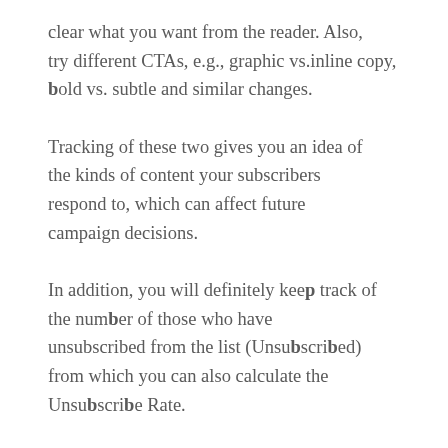clear what you want from the reader. Also, try different CTAs, e.g., graphic vs.inline copy, bold vs. subtle and similar changes.

Tracking of these two gives you an idea of the kinds of content your subscribers respond to, which can affect future campaign decisions.

In addition, you will definitely keep track of the number of those who have unsubscribed from the list (Unsubscribed) from which you can also calculate the Unsubscribe Rate.